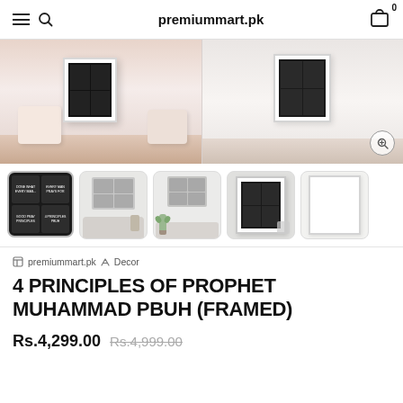premiummart.pk
[Figure (photo): Main product image showing framed Islamic art print in a bedroom setting with pillows]
[Figure (photo): Thumbnail 1: Dark background framed print with 4 panels]
[Figure (photo): Thumbnail 2: Room setting with sofa and framed prints on wall]
[Figure (photo): Thumbnail 3: Room setting with plant and framed prints on wall]
[Figure (photo): Thumbnail 4: Close-up of framed print]
[Figure (photo): Thumbnail 5: White/blank framed print]
premiummart.pk › Decor
4 PRINCIPLES OF PROPHET MUHAMMAD PBUH (FRAMED)
Rs.4,299.00 Rs.4,999.00